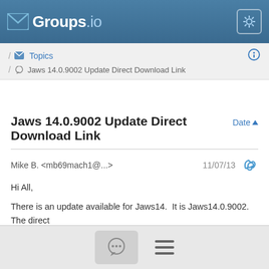Groups.io
/ Topics / Jaws 14.0.9002 Update Direct Download Link
Jaws 14.0.9002 Update Direct Download Link
Mike B. <mb69mach1@...>  11/07/13
Hi All,

There is an update available for Jaws14.  It is Jaws14.0.9002.  The direct download links are below:

32 Bit Systems: